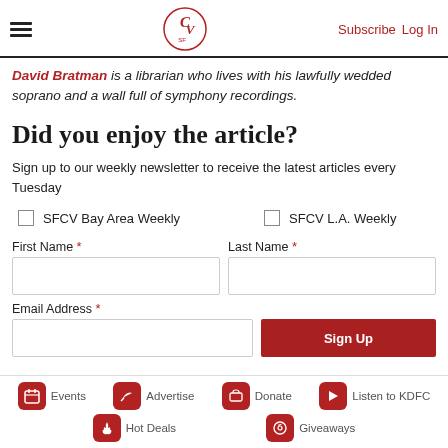SFCV logo, Subscribe, Log In
David Bratman is a librarian who lives with his lawfully wedded soprano and a wall full of symphony recordings.
Did you enjoy the article?
Sign up to our weekly newsletter to receive the latest articles every Tuesday
SFCV Bay Area Weekly  SFCV L.A. Weekly
First Name * Last Name * Email Address *
Events  Advertise  Donate  Listen to KDFC  Hot Deals  Giveaways